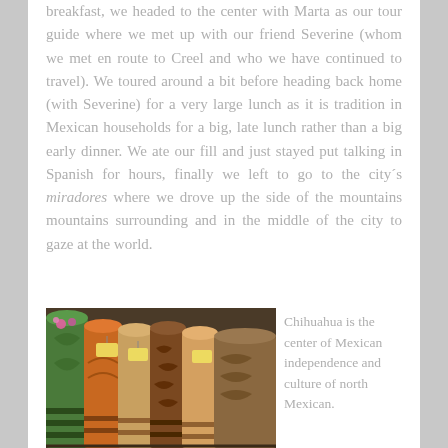breakfast, we headed to the center with Marta as our tour guide where we met up with our friend Severine (whom we met en route to Creel and who we have continued to travel). We toured around a bit before heading back home (with Severine) for a very large lunch as it is tradition in Mexican households for a big, late lunch rather than a big early dinner. We ate our fill and just stayed put talking in Spanish for hours, finally we left to go to the city´s miradores where we drove up the side of the mountains mountains surrounding and in the middle of the city to gaze at the world.
[Figure (photo): Colorful cowboy boots displayed in a row, showing various decorative patterns and colors including green, orange, brown, and striped designs.]
Chihuahua is the center of Mexican independence and culture of north Mexican.